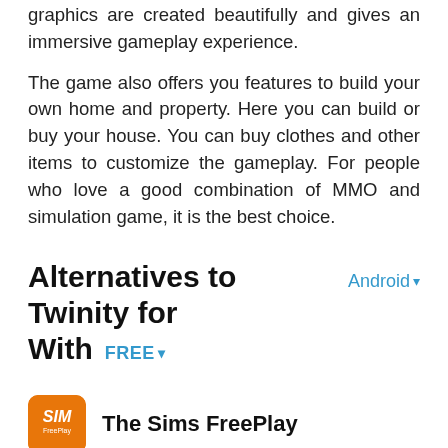graphics are created beautifully and gives an immersive gameplay experience.
The game also offers you features to build your own home and property. Here you can build or buy your house. You can buy clothes and other items to customize the gameplay. For people who love a good combination of MMO and simulation game, it is the best choice.
Alternatives to Twinity for Android ▾ With FREE ▾
[Figure (logo): The Sims FreePlay app icon - orange background with 'SIM' text]
The Sims FreePlay
[Figure (other): Five empty/grey star rating icons]